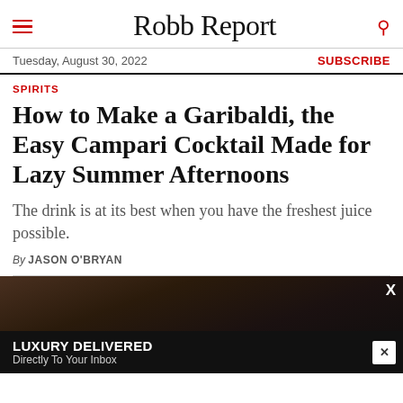Robb Report
Tuesday, August 30, 2022 | SUBSCRIBE
SPIRITS
How to Make a Garibaldi, the Easy Campari Cocktail Made for Lazy Summer Afternoons
The drink is at its best when you have the freshest juice possible.
By JASON O'BRYAN
[Figure (photo): Dark bar scene photo with bottles and bar equipment]
LUXURY DELIVERED Directly To Your Inbox